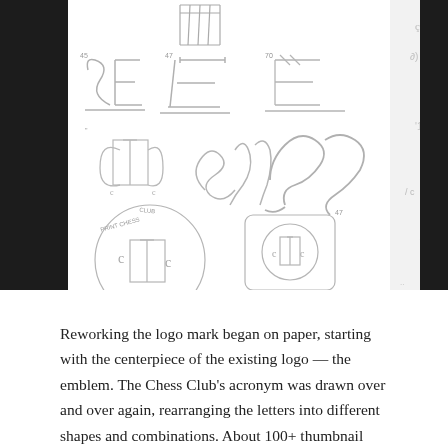[Figure (photo): A photograph of a sketchbook page showing hand-drawn logo sketches for a Chess Club acronym emblem. Multiple thumbnail sketches show various arrangements of letters (C, S, E/T) in different styles including serif, script, monogram circles, and decorative treatments. The left and right edges of the photograph are bordered by black bars. Partially visible additional sketches appear on the right side outside the main sketch area.]
Reworking the logo mark began on paper, starting with the centerpiece of the existing logo — the emblem. The Chess Club's acronym was drawn over and over again, rearranging the letters into different shapes and combinations. About 100+ thumbnail sketches later, these drafts moved from paper to